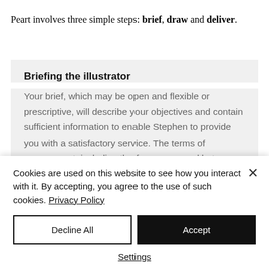Peart involves three simple steps: brief, draw and deliver.
Briefing the illustrator
Your brief, which may be open and flexible or prescriptive, will describe your objectives and contain sufficient information to enable Stephen to provide you with a satisfactory service. The terms of engagement, including the fee, are agreed between the two parties at this
Cookies are used on this website to see how you interact with it. By accepting, you agree to the use of such cookies. Privacy Policy
Decline All
Accept
Settings